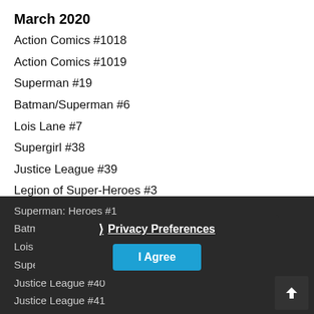March 2020
Action Comics #1018
Action Comics #1019
Superman #19
Batman/Superman #6
Lois Lane #7
Supergirl #38
Justice League #39
Legion of Super-Heroes #3
Young Justice #12
April 2020
Superman #20
Action Comics #1020
Superman: Heroes #1
Batman/Superman #7
Lois Lane #8
Supergirl #39
Justice League #40
Justice League #41